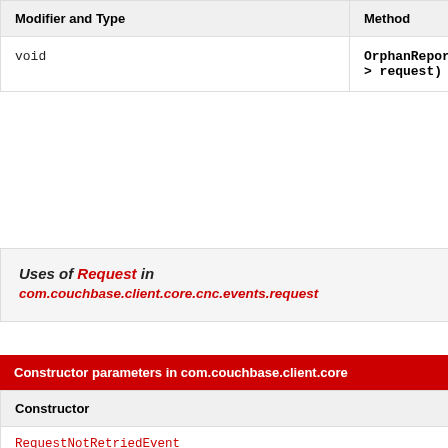| Modifier and Type | Method |
| --- | --- |
| void | OrphanReporter.report(Request<? > request) |
Uses of Request in com.couchbase.client.core.cnc.events.request
| Constructor | Description |
| --- | --- |
| RequestNotRetriedEvent (Event.Severity severity, Class<? extends Request> clazz, RequestContext context, RetryReason reason, Throwable throwable) |  |